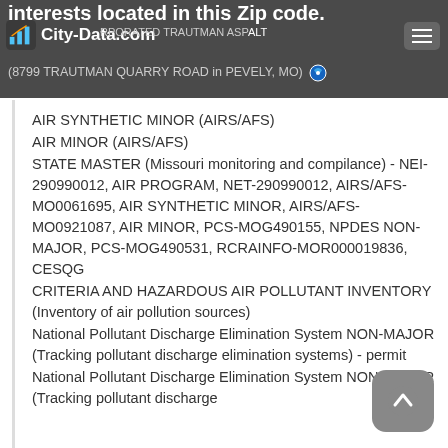City-Data.com
RED WEBER INCORPORATED TRAUTMAN ASPHALT (8799 TRAUTMAN QUARRY ROAD in PEVELY, MO)
AIR SYNTHETIC MINOR (AIRS/AFS)
AIR MINOR (AIRS/AFS)
STATE MASTER (Missouri monitoring and compilance) - NEI-290990012, AIR PROGRAM, NET-290990012, AIRS/AFS-MO0061695, AIR SYNTHETIC MINOR, AIRS/AFS-MO0921087, AIR MINOR, PCS-MOG490155, NPDES NON-MAJOR, PCS-MOG490531, RCRAINFO-MOR000019836, CESQG
CRITERIA AND HAZARDOUS AIR POLLUTANT INVENTORY (Inventory of air pollution sources)
National Pollutant Discharge Elimination System NON-MAJOR (Tracking pollutant discharge elimination systems) - permit
National Pollutant Discharge Elimination System NON-MAJOR (Tracking pollutant discharge